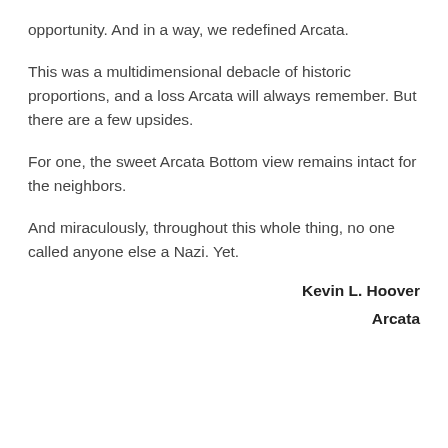opportunity. And in a way, we redefined Arcata.
This was a multidimensional debacle of historic proportions, and a loss Arcata will always remember. But there are a few upsides.
For one, the sweet Arcata Bottom view remains intact for the neighbors.
And miraculously, throughout this whole thing, no one called anyone else a Nazi. Yet.
Kevin L. Hoover
Arcata